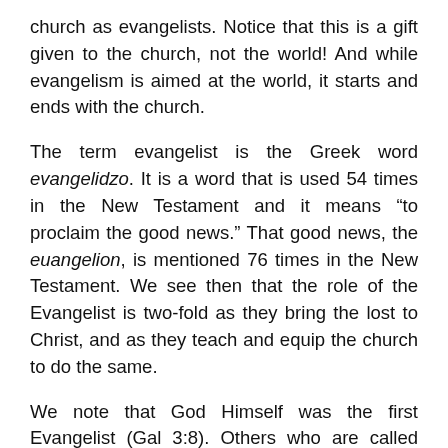church as evangelists. Notice that this is a gift given to the church, not the world! And while evangelism is aimed at the world, it starts and ends with the church.
The term evangelist is the Greek word evangelidzo. It is a word that is used 54 times in the New Testament and it means “to proclaim the good news.” That good news, the euangelion, is mentioned 76 times in the New Testament. We see then that the role of the Evangelist is two-fold as they bring the lost to Christ, and as they teach and equip the church to do the same.
We note that God Himself was the first Evangelist (Gal 3:8). Others who are called Evangelists include angels (Luke 2:10), Jesus (Luke 20:1), and the Apostles (Acts 8:4). Today we understand that those called to and fulfilling this role include missionaries and church planters (Acts